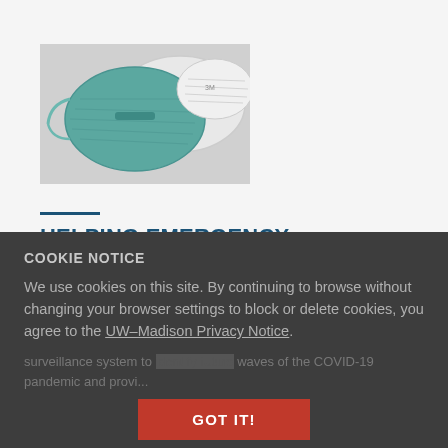[Figure (photo): N95 respirator masks, teal and white colored, stacked together on a surface]
HELPING EMERGENCY DEPARTMENTS IDENTIFY AND PREPARE FOR FUTURE WAVES OF COVID-19
Posted on October 1, 2020
COOKIE NOTICE
We use cookies on this site. By continuing to browse without changing your browser settings to block or delete cookies, you agree to the UW–Madison Privacy Notice.
surveillance system to identify future waves of the COVID-19 pandemic and provi...
GOT IT!